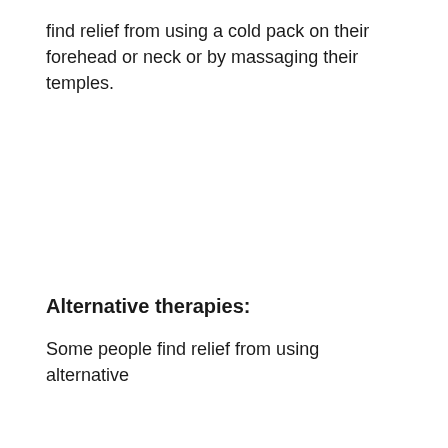find relief from using a cold pack on their forehead or neck or by massaging their temples.
Alternative therapies:
Some people find relief from using alternative